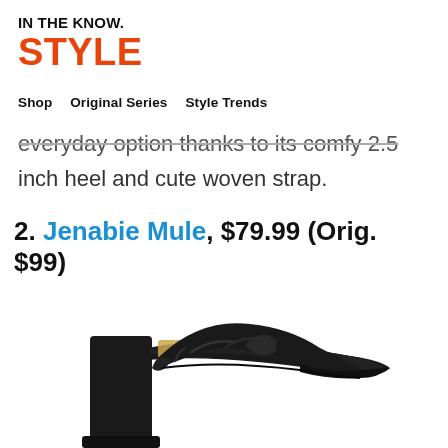IN THE KNOW. STYLE
Shop   Original Series   Style Trends
everyday option thanks to its comfy 2.5 inch heel and cute woven strap.
2. Jenabie Mule, $79.99 (Orig. $99)
[Figure (photo): Black leather block-heel mule sandal (Jenabie Mule) with a large knotted/woven strap across the toe, viewed from a three-quarter angle on a white background.]